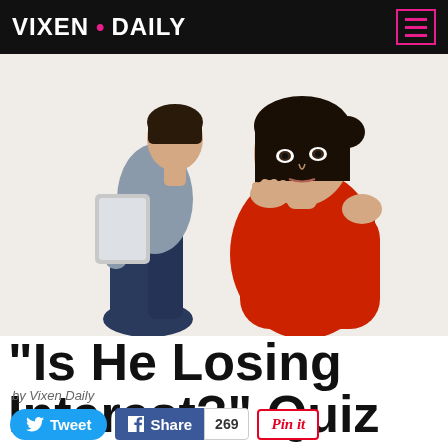VIXEN • DAILY
[Figure (photo): A man and woman sitting back to back. The man is reading a newspaper/tablet and ignoring the woman. The woman in a red shirt looks bored or frustrated, resting her head on her hand.]
“Is He Losing Interest?” Quiz
by Vixen Daily
Tweet   Share  269  Pin it